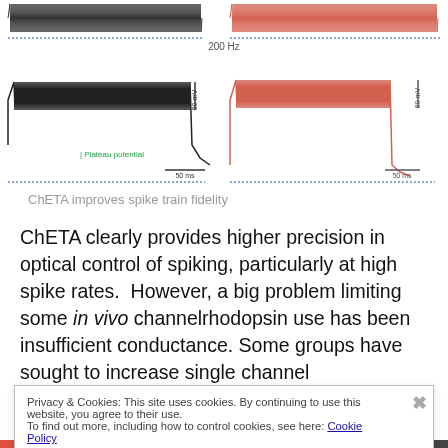[Figure (continuous-plot): Electrophysiology traces showing spike trains. Left panel (black): neuron spiking with plateau potential labeled, scale bars 60 mV and 50 ms. Right panel (salmon/red): similar spike train trace. Top shows 200 Hz label. Blue dotted lines at bottom of each trace.]
ChETA improves spike train fidelity
ChETA clearly provides higher precision in optical control of spiking, particularly at high spike rates. However, a big problem limiting some in vivo channelrhodopsin use has been insufficient conductance. Some groups have sought to increase single channel conductance, but this approach can lead to increased ChR toxicity and/or spurious spikes